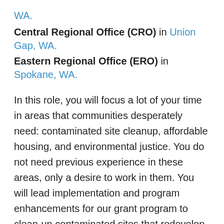WA.
Central Regional Office (CRO) in Union Gap, WA.
Eastern Regional Office (ERO) in Spokane, WA.
In this role, you will focus a lot of your time in areas that communities desperately need: contaminated site cleanup, affordable housing, and environmental justice. You do not need previous experience in these areas, only a desire to work in them. You will lead implementation and program enhancements for our grant program to clean-up contaminated sites that redevelop into affordable housing. Developing policy for this new program and connecting the work to our Brownfields Program’s efforts will play an important part of your role. To do so, you will get to